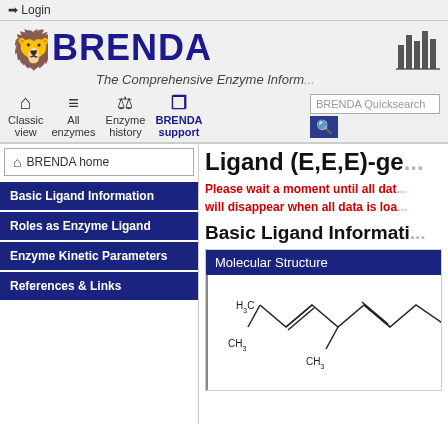→ Login
[Figure (logo): BRENDA enzyme database logo with lion emblem and bar chart icon, text: BRENDA]
The Comprehensive Enzyme Informa...
Classic view | All enzymes | Enzyme history | BRENDA support
BRENDA Quicksearch
BRENDA home
Basic Ligand Information
Roles as Enzyme Ligand
Enzyme Kinetic Parameters
References & Links
Ligand (E,E,E)-ge...
Please wait a moment until all dat... will disappear when all data is loa...
Basic Ligand Informati...
| Molecular Structure |
| --- |
[Figure (engineering-diagram): Partial chemical structure diagram showing a hydrocarbon chain with H3C and CH3 groups]